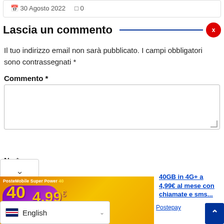30 Agosto 2022  0
Lascia un commento
Il tuo indirizzo email non sarà pubblicato. I campi obbligatori sono contrassegnati *
Commento *
Nome *
[Figure (screenshot): PosteMobile Super Power 40 advertisement banner: 40 GIGA in 4G+ at 4,99€ al mese]
40GB in 4G+ a 4,99€ al mese con chiamate e sms...
Postepay
English